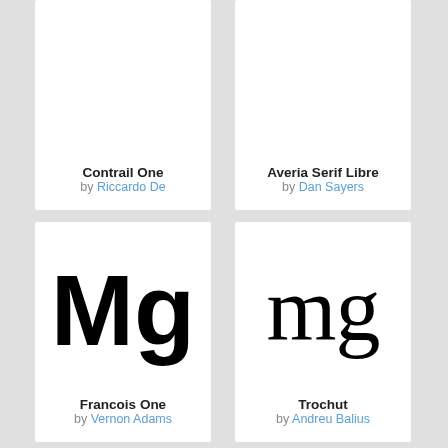[Figure (illustration): Font card for Contrail One - partially visible at top, showing bold 'Mg' glyph preview cut off, with font name and author below]
Contrail One
by Riccardo De
[Figure (illustration): Font card for Averia Serif Libre - partially visible at top, with font name and author below]
Averia Serif Libre
by Dan Sayers
[Figure (illustration): Font card for Francois One - showing large bold 'Mg' glyph preview]
Francois One
by Vernon Adams
[Figure (illustration): Font card for Trochut - showing large serif 'mg' glyph preview]
Trochut
by Andreu Balius
[Figure (illustration): Font card partially visible at bottom - showing large 'MG' uppercase glyph]
[Figure (illustration): Font card partially visible at bottom - showing large 'Ma' serif glyph]